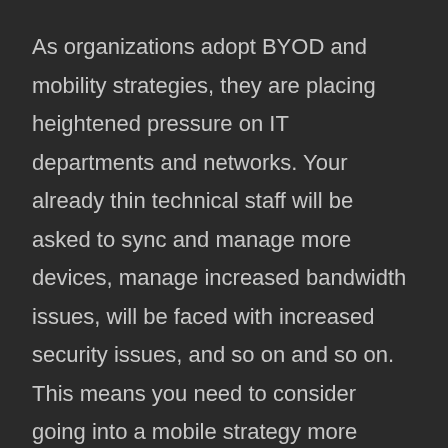As organizations adopt BYOD and mobility strategies, they are placing heightened pressure on IT departments and networks. Your already thin technical staff will be asked to sync and manage more devices, manage increased bandwidth issues, will be faced with increased security issues, and so on and so on. This means you need to consider going into a mobile strategy more carefully. Managed Services is not a new term in the technology world, but it may be a new term for you as the end-user. Many businesses are still on a break-fix IT model. Meaning, you have someone(s) on your staff that manages your IT network. Most